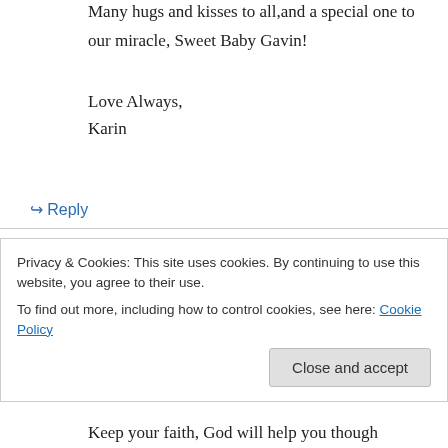Many hugs and kisses to all,and a special one to our miracle, Sweet Baby Gavin!
Love Always,
Karin
↪ Reply
Michele on November 13, 2006 at 9:04 pm
Winslow Family,
I haven't met you but heard of Gavin from a girl
Privacy & Cookies: This site uses cookies. By continuing to use this website, you agree to their use.
To find out more, including how to control cookies, see here: Cookie Policy
Close and accept
Keep your faith, God will help you though